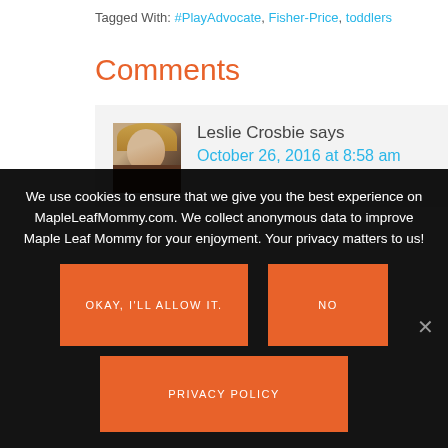Tagged With: #PlayAdvocate, Fisher-Price, toddlers
Comments
Leslie Crosbie says
October 26, 2016 at 8:58 am
We use cookies to ensure that we give you the best experience on MapleLeafMommy.com. We collect anonymous data to improve Maple Leaf Mommy for your enjoyment. Your privacy matters to us!
OKAY, I'LL ALLOW IT.
NO
PRIVACY POLICY